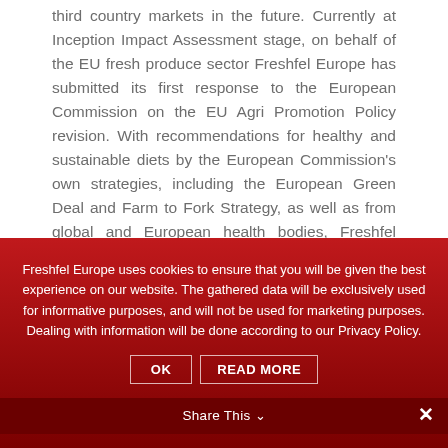third country markets in the future. Currently at Inception Impact Assessment stage, on behalf of the EU fresh produce sector Freshfel Europe has submitted its first response to the European Commission on the EU Agri Promotion Policy revision. With recommendations for healthy and sustainable diets by the European Commission's own strategies, including the European Green Deal and Farm to Fork Strategy, as well as from global and European health bodies, Freshfel Europe argued that increasing fresh fruit and vegetable consumption must be continued to be strongly supported in the new EU Promotion Policy.
Freshfel Europe uses cookies to ensure that you will be given the best experience on our website. The gathered data will be exclusively used for informative purposes, and will not be used for marketing purposes. Dealing with information will be done according to our Privacy Policy.
Share This